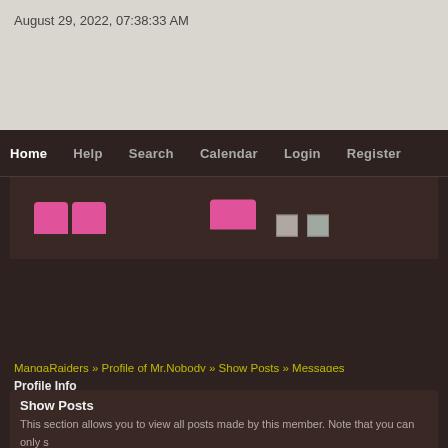August 29, 2022, 07:38:33 AM
[Figure (screenshot): Website navigation banner for MangaRaiders with dark brown background, showing nav links: Home, Help, Search, Calendar, Login, Register, and a banner area with pink logo elements]
MangaRaiders » Profile of Mr.Nobody » Show Posts » Messages
Profile Info
Show Posts
This section allows you to view all posts made by this member. Note that you can only s